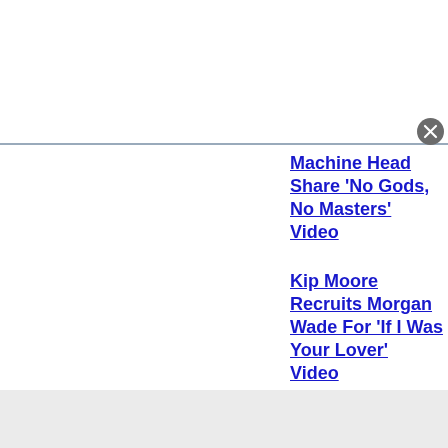[Figure (other): Top white advertisement banner with a gray border at the bottom and a circular close (X) button at bottom-right]
Machine Head Share 'No Gods, No Masters' Video
Kip Moore Recruits Morgan Wade For 'If I Was Your Lover' Video
[Figure (other): Bottom white advertisement banner with a gray border at top and a circular close (X) button at top-right]
[Figure (other): Gray footer strip at the very bottom of the page]